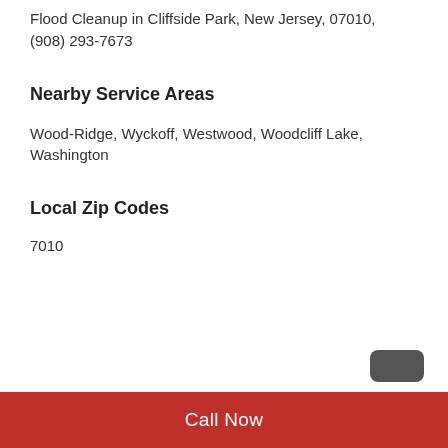Flood Cleanup in Cliffside Park, New Jersey, 07010, (908) 293-7673
Nearby Service Areas
Wood-Ridge, Wyckoff, Westwood, Woodcliff Lake, Washington
Local Zip Codes
7010
Call Now